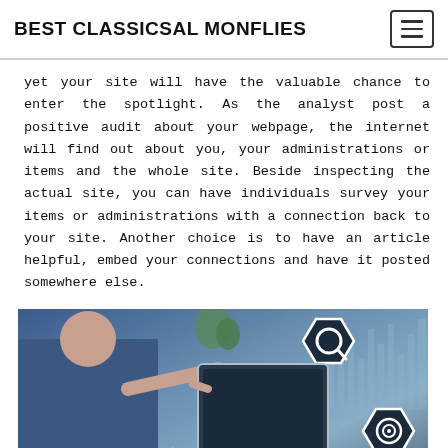BEST CLASSICSAL MONFLIES
yet your site will have the valuable chance to enter the spotlight. As the analyst post a positive audit about your webpage, the internet will find out about you, your administrations or items and the whole site. Beside inspecting the actual site, you can have individuals survey your items or administrations with a connection back to your site. Another choice is to have an article helpful, embed your connections and have it posted somewhere else.
[Figure (photo): SEO concept image showing a person pointing at a digital screen with hexagonal icons including a search/magnifying glass icon, bar chart icon with trend line, SEO text label, gear/settings icon, and target/goal icon, with a blurred office background.]